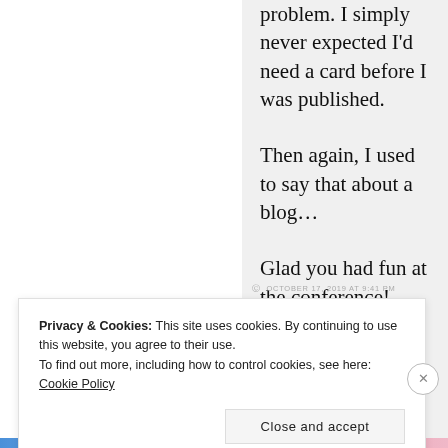problem. I simply never expected I'd need a card before I was published.
Then again, I used to say that about a blog…
Glad you had fun at the conference!
OCTOBER 17, 2019 AT 9:41 PM
Privacy & Cookies: This site uses cookies. By continuing to use this website, you agree to their use.
To find out more, including how to control cookies, see here: Cookie Policy
Close and accept